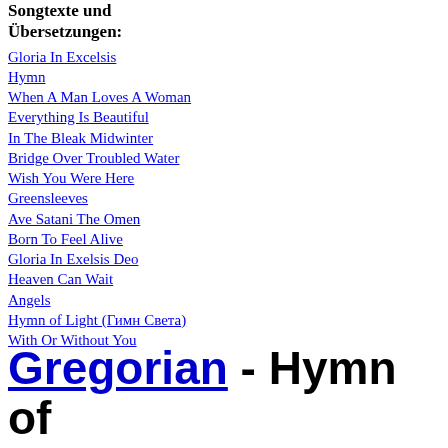Songtexte und Übersetzungen:
Gloria In Excelsis
Hymn
When A Man Loves A Woman
Everything Is Beautiful
In The Bleak Midwinter
Bridge Over Troubled Water
Wish You Were Here
Greensleeves
Ave Satani The Omen
Born To Feel Alive
Gloria In Exelsis Deo
Heaven Can Wait
Angels
Hymn of Light (Гимн Света)
With Or Without You
Gregorian - Hymn of